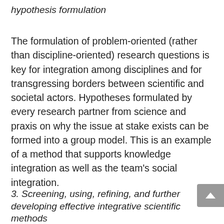hypothesis formulation
The formulation of problem-oriented (rather than discipline-oriented) research questions is key for integration among disciplines and for transgressing borders between scientific and societal actors. Hypotheses formulated by every research partner from science and praxis on why the issue at stake exists can be formed into a group model. This is an example of a method that supports knowledge integration as well as the team's social integration.
3. Screening, using, refining, and further developing effective integrative scientific methods